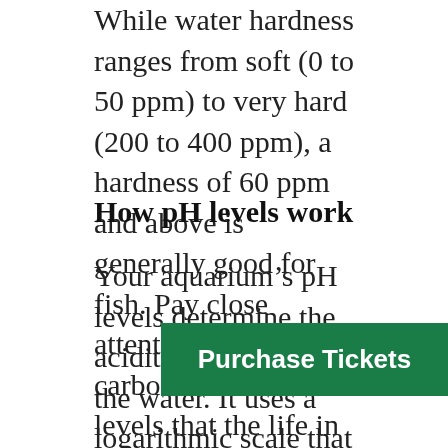While water hardness ranges from soft (0 to 50 ppm) to very hard (200 to 400 ppm), a hardness of 60 ppm and above is generally good for fish. Pay close attention to the carbonate hardness levels that the life in your aquarium needs to thrive.
How pH levels work
Your aquarium’s pH levels determine the acidity or basicity of the water. It uses a logarithmic scale that considers a pH level of seven neutral. Anything below seven is categorized as acidic while water above seven is classified as basic or alkaline.
Why is this an important consideration for your fish tank? The pH level in your aquarium is important because sudden changes to it
[Figure (other): Green 'Purchase Tickets' button overlay in bottom right area]